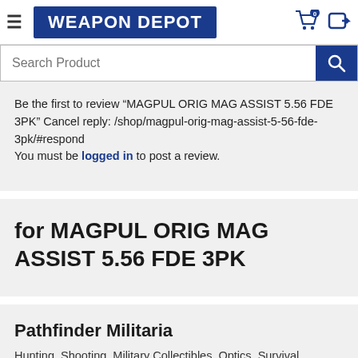WEAPON DEPOT
Be the first to review "MAGPUL ORIG MAG ASSIST 5.56 FDE 3PK" Cancel reply: /shop/magpul-orig-mag-assist-5-56-fde-3pk/#respond
You must be logged in to post a review.
for MAGPUL ORIG MAG ASSIST 5.56 FDE 3PK
Pathfinder Militaria
Hunting, Shooting, Military Collectibles, Optics, Survival Supplies, Firearms Accessories & More!